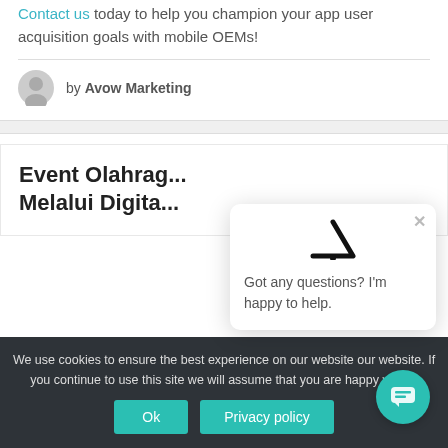Contact us today to help you champion your app user acquisition goals with mobile OEMs!
by Avow Marketing
Event Olahrag... Melalui Digita...
Got any questions? I'm happy to help.
We use cookies to ensure t... our website. If you continue to use this site we will assume that you are happy with it.
Ok
Privacy policy